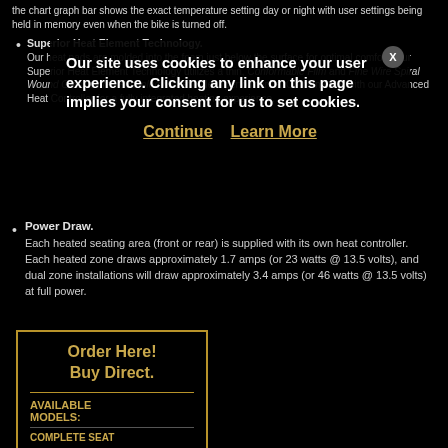the chart graph bar shows the exact temperature setting day or night with user settings being held in memory even when the bike is turned off.
Superior Heat Element Technology. Our heat pads are molded into the foam just below the surface for optimal comfort. Our Superior Heat Element Technology utilizes a thin, Conformable Film and Fine Wire Spiral Wound Glass Core Technology for excellent performance. Combine this with our Advanced Heat Controller for a fully integrated heating experience.
[Figure (infographic): Cookie consent overlay with bold white text: 'Our site uses cookies to enhance your user experience. Clicking any link on this page implies your consent for us to set cookies.' Two gold underlined links: 'Continue' and 'Learn More'. A close 'X' button in the upper right.]
Power Draw. Each heated seating area (front or rear) is supplied with its own heat controller. Each heated zone draws approximately 1.7 amps (or 23 watts @ 13.5 volts), and dual zone installations will draw approximately 3.4 amps (or 46 watts @ 13.5 volts) at full power.
Order Here! Buy Direct.
AVAILABLE MODELS:
COMPLETE SEAT